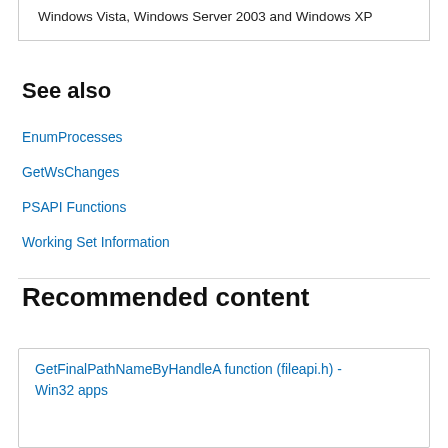| Windows Vista, Windows Server 2003 and Windows XP |
See also
EnumProcesses
GetWsChanges
PSAPI Functions
Working Set Information
Recommended content
GetFinalPathNameByHandleA function (fileapi.h) - Win32 apps